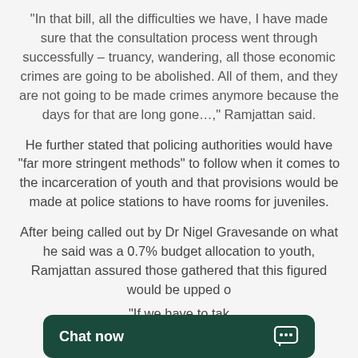"In that bill, all the difficulties we have, I have made sure that the consultation process went through successfully – truancy, wandering, all those economic crimes are going to be abolished. All of them, and they are not going to be made crimes anymore because the days for that are long gone…," Ramjattan said.
He further stated that policing authorities would have "far more stringent methods" to follow when it comes to the incarceration of youth and that provisions would be made at police stations to have rooms for juveniles.
After being called out by Dr Nigel Gravesande on what he said was a 0.7% budget allocation to youth, Ramjattan assured those gathered that this figured would be upped o…
"If we have to tak…
[Figure (other): Chat now button overlay at the bottom of the page, dark green background with white bold text 'Chat now' and a chat bubble icon on the right.]